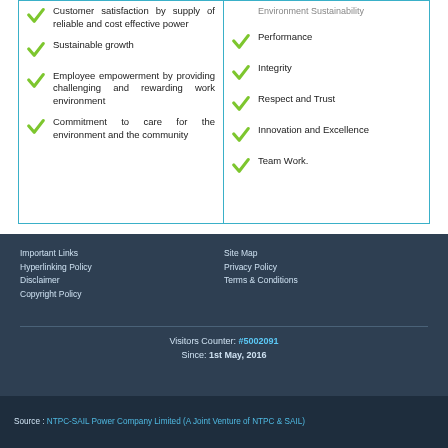Customer satisfaction by supply of reliable and cost effective power
Sustainable growth
Employee empowerment by providing challenging and rewarding work environment
Commitment to care for the environment and the community
Environment Sustainability
Performance
Integrity
Respect and Trust
Innovation and Excellence
Team Work.
Important Links
Hyperlinking Policy
Disclaimer
Copyright Policy
Site Map
Privacy Policy
Terms & Conditions
Visitors Counter: #5002091
Since: 1st May, 2016
Source : NTPC-SAIL Power Company Limited (A Joint Venture of NTPC & SAIL)